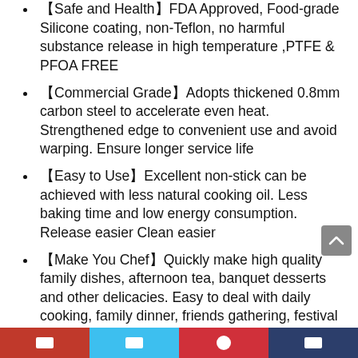【Safe and Health】FDA Approved, Food-grade Silicone coating, non-Teflon, no harmful substance release in high temperature ,PTFE & PFOA FREE
【Commercial Grade】Adopts thickened 0.8mm carbon steel to accelerate even heat. Strengthened edge to convenient use and avoid warping. Ensure longer service life
【Easy to Use】Excellent non-stick can be achieved with less natural cooking oil. Less baking time and low energy consumption. Release easier Clean easier
【Make You Chef】Quickly make high quality family dishes, afternoon tea, banquet desserts and other delicacies. Easy to deal with daily cooking, family dinner, friends gathering, festival celebrations, etc. Spend less time and have more fun